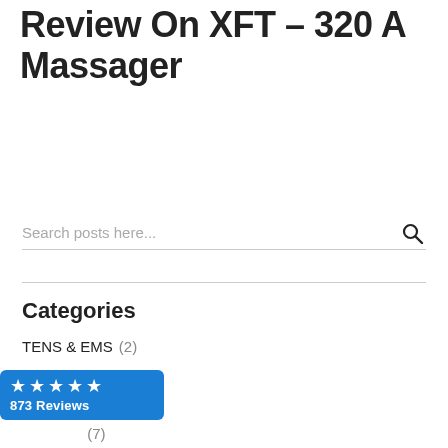Review On XFT– 320 A Massager
Search posts here...
Categories
TENS & EMS  (2)
Latest News  (42)
(2)
(7)
[Figure (other): Blue review badge showing 5 stars and 873 Reviews]